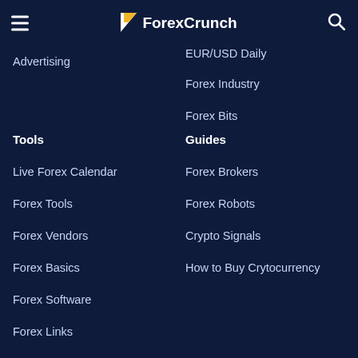ForexCrunch
Advertising
EUR/USD Daily
Forex Industry
Forex Bits
Tools
Guides
Live Forex Calendar
Forex Tools
Forex Vendors
Forex Basics
Forex Software
Forex Links
Forex Brokers
Forex Robots
Crypto Signals
How to Buy Crytocurrency